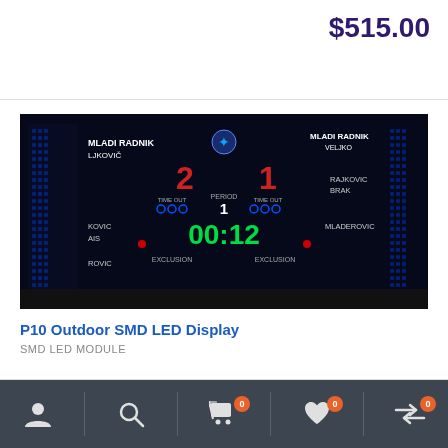$515.00
[Figure (photo): LED scoreboard display showing a water polo match with teams MLADI RADNIK, scores 2 and 1, time 00:12, period 1, EXCLUSION indicators]
P10 Outdoor SMD LED Display
SMD LED MODULE
Navigation bar with user, search, cart (0), wishlist (0), compare (0) icons